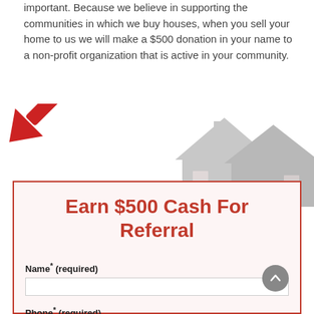important. Because we believe in supporting the communities in which we buy houses, when you sell your home to us we will make a $500 donation in your name to a non-profit organization that is active in your community.
[Figure (illustration): A red downward-pointing arrow on the left, and a grey house silhouette icon on the right, used as decorative elements pointing toward the referral form below.]
Earn $500 Cash For Referral
Name* (required)
Phone* (required)